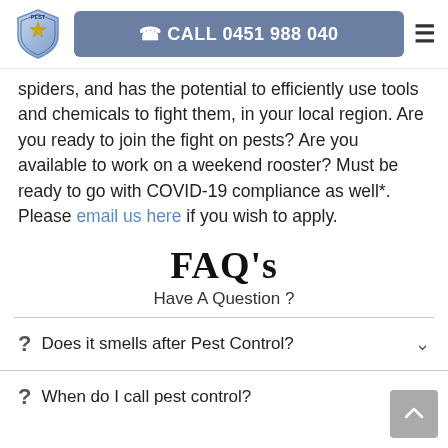CALL 0451 988 040
spiders, and has the potential to efficiently use tools and chemicals to fight them, in your local region. Are you ready to join the fight on pests? Are you available to work on a weekend rooster? Must be ready to go with COVID-19 compliance as well*. Please email us here if you wish to apply.
FAQ's
Have A Question ?
Does it smells after Pest Control?
When do I call pest control?